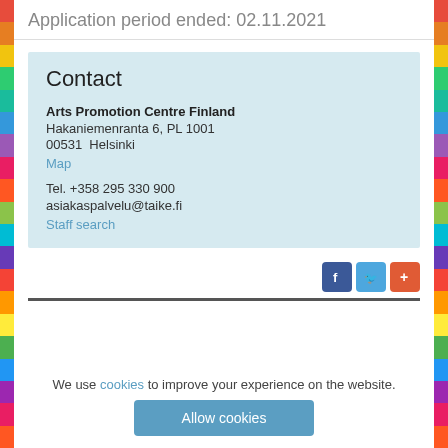Application period ended: 02.11.2021
Contact
Arts Promotion Centre Finland
Hakaniemenranta 6, PL 1001
00531  Helsinki
Map

Tel. +358 295 330 900
asiakaspalvelu@taike.fi
Staff search
[Figure (other): Social sharing buttons: Facebook (blue), Twitter (light blue), Share/Plus (orange-red)]
We use cookies to improve your experience on the website.
Allow cookies